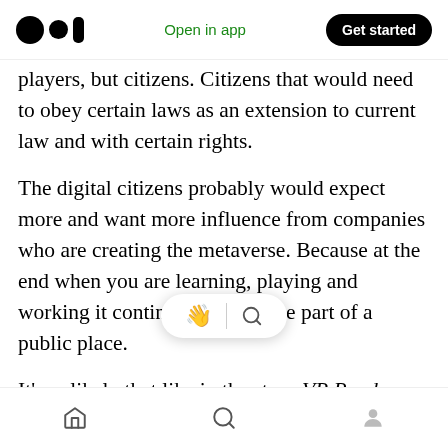Medium app header — Open in app | Get started
players, but citizens. Citizens that would need to obey certain laws as an extension to current law and with certain rights.
The digital citizens probably would expect more and want more influence from companies who are creating the metaverse. Because at the end when you are learning, playing and working it continuously become part of a public place.
It's unlikely that like in the story VR Ready Player One only one comp[any controls] its virtual world. There will be multi[ple virtual w]orlds, ruled by
Bottom navigation bar — Home | Search | Profile